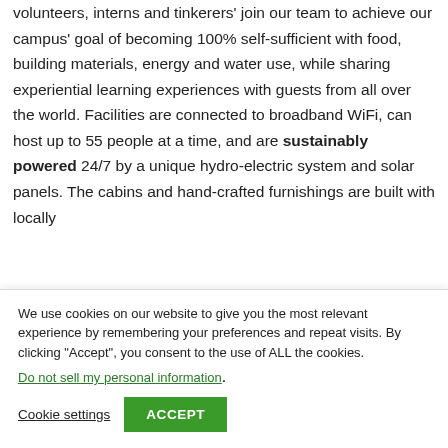volunteers, interns and tinkerers' join our team to achieve our campus' goal of becoming 100% self-sufficient with food, building materials, energy and water use, while sharing experiential learning experiences with guests from all over the world. Facilities are connected to broadband WiFi, can host up to 55 people at a time, and are sustainably powered 24/7 by a unique hydro-electric system and solar panels. The cabins and hand-crafted furnishings are built with locally
We use cookies on our website to give you the most relevant experience by remembering your preferences and repeat visits. By clicking "Accept", you consent to the use of ALL the cookies.
Do not sell my personal information.
Cookie settings
ACCEPT